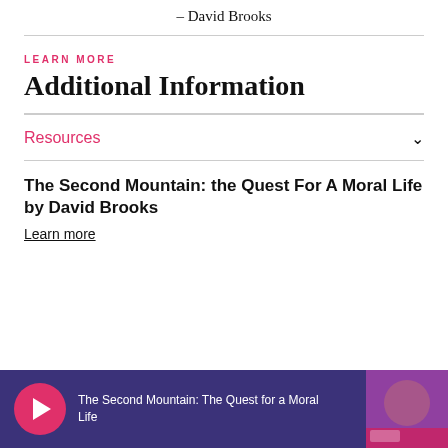– David Brooks
LEARN MORE
Additional Information
Resources
The Second Mountain: the Quest For A Moral Life by David Brooks
Learn more
[Figure (screenshot): Media player bar with pink play button, title 'The Second Mountain: The Quest for a Moral Life', and thumbnail image of speaker at podium, on dark purple background]